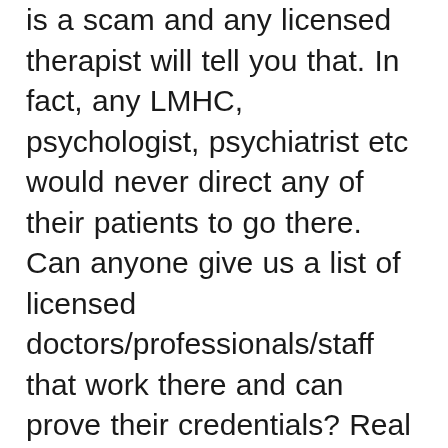is a scam and any licensed therapist will tell you that. In fact, any LMHC, psychologist, psychiatrist etc would never direct any of their patients to go there. Can anyone give us a list of licensed doctors/professionals/staff that work there and can prove their credentials? Real accounts from actual people with proof of the visit, whether that proof be from insurance or otherwise? Actual EID